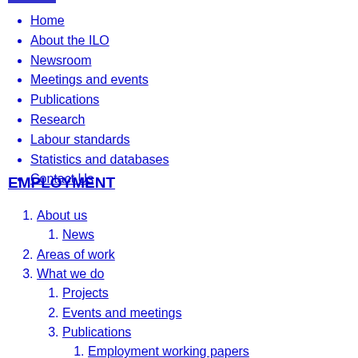Home
About the ILO
Newsroom
Meetings and events
Publications
Research
Labour standards
Statistics and databases
Contact Us
EMPLOYMENT
1. About us
1.1. News
2. Areas of work
3. What we do
3.1. Projects
3.2. Events and meetings
3.3. Publications
3.3.1. Employment working papers
3.3.2. Employment reports
3.3.3. Employment working papers series archive
3.3.4. Employment policy briefs
3.3.5. Employment research briefs